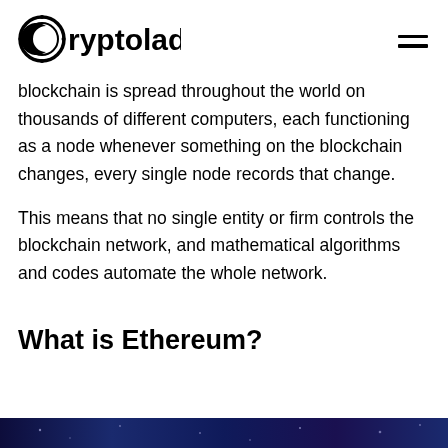Cryptolad
blockchain is spread throughout the world on thousands of different computers, each functioning as a node whenever something on the blockchain changes, every single node records that change.
This means that no single entity or firm controls the blockchain network, and mathematical algorithms and codes automate the whole network.
What is Ethereum?
[Figure (photo): Dark blue space or digital network background image at the bottom of the page]